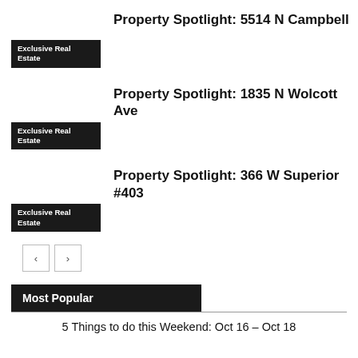Property Spotlight: 5514 N Campbell
Exclusive Real Estate
Property Spotlight: 1835 N Wolcott Ave
Exclusive Real Estate
Property Spotlight: 366 W Superior #403
Exclusive Real Estate
Most Popular
5 Things to do this Weekend: Oct 16 – Oct 18